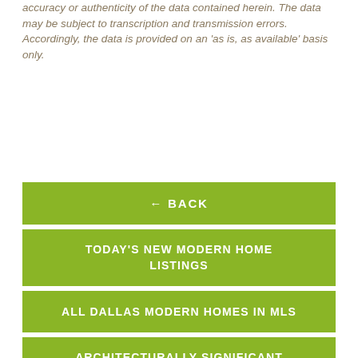accuracy or authenticity of the data contained herein. The data may be subject to transcription and transmission errors. Accordingly, the data is provided on an 'as is, as available' basis only.
← BACK
TODAY'S NEW MODERN HOME LISTINGS
ALL DALLAS MODERN HOMES IN MLS
ARCHITECTURALLY SIGNIFICANT HOMES – DOUGNEWBY.COM